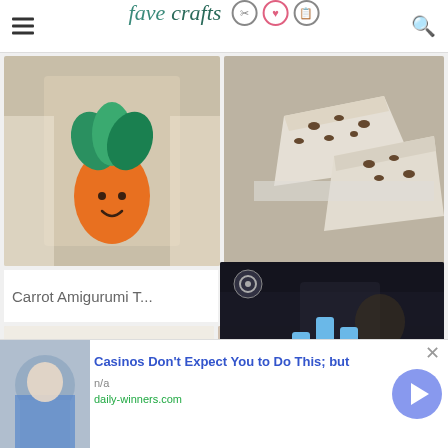favecrafts
[Figure (photo): Crochet carrot amigurumi toy with green top and smiley face held by person]
[Figure (photo): Sliced chocolate chip ice cream cake pieces on white plate]
Carrot Amigurumi T...
[Figure (photo): White knit/crochet item with yellow border at bottom]
[Figure (photo): Colorful crochet blanket or quilt]
[Figure (screenshot): Video overlay with Mediavine logo bars and play button over dark background showing person in workshop]
[Figure (photo): Advertisement thumbnail showing person in blue shirt]
Casinos Don't Expect You to Do This; but
n/a
daily-winners.com